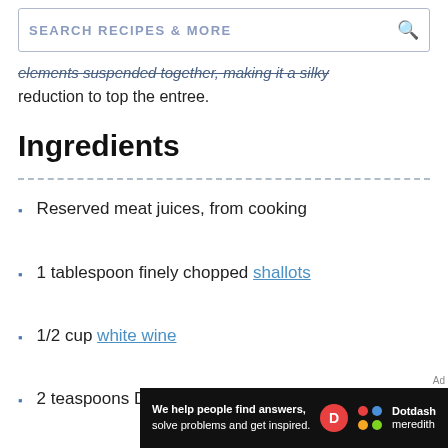SEARCH RECIPES & MORE
elements suspended together, making it a silky reduction to top the entree.
Ingredients
Reserved meat juices, from cooking
1 tablespoon finely chopped shallots
1/2 cup white wine
2 teaspoons Dijon mustard
2 teaspoons fresh parsley, chopped
[Figure (other): Dotdash Meredith advertisement banner: 'We help people find answers, solve problems and get inspired.' with Dotdash Meredith logo]